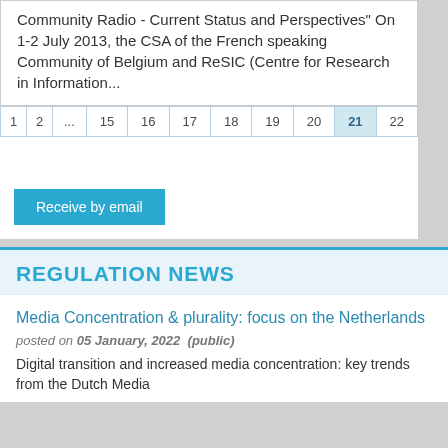Community Radio - Current Status and Perspectives" On 1-2 July 2013, the CSA of the French speaking Community of Belgium and ReSIC (Centre for Research in Information...
| 1 | 2 | ... | 15 | 16 | 17 | 18 | 19 | 20 | 21 | 22 |
| --- | --- | --- | --- | --- | --- | --- | --- | --- | --- | --- |
Receive by email
REGULATION NEWS
Media Concentration & plurality: focus on the Netherlands
posted on 05 January, 2022  (public)
Digital transition and increased media concentration: key trends from the Dutch Media